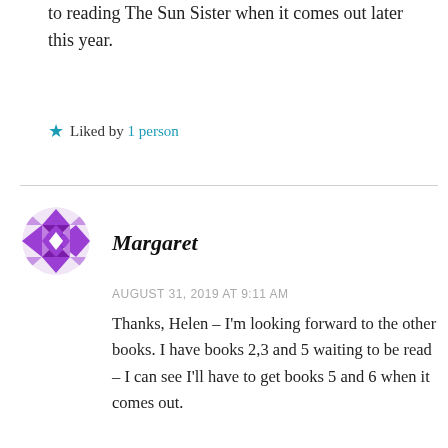to reading The Sun Sister when it comes out later this year.
★ Liked by 1 person
Margaret
AUGUST 31, 2019 AT 9:11 AM
Thanks, Helen – I'm looking forward to the other books. I have books 2,3 and 5 waiting to be read – I can see I'll have to get books 5 and 6 when it comes out.